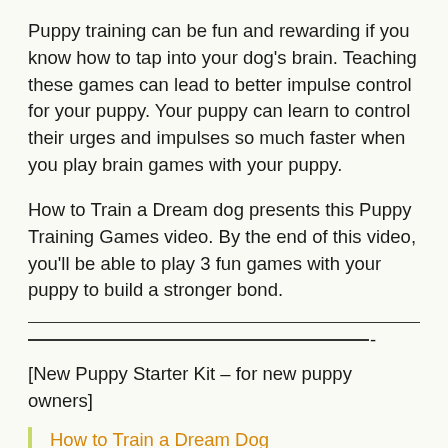Puppy training can be fun and rewarding if you know how to tap into your dog's brain. Teaching these games can lead to better impulse control for your puppy. Your puppy can learn to control their urges and impulses so much faster when you play brain games with your puppy.
How to Train a Dream dog presents this Puppy Training Games video. By the end of this video, you'll be able to play 3 fun games with your puppy to build a stronger bond.
[New Puppy Starter Kit – for new puppy owners]
How to Train a Dream Dog